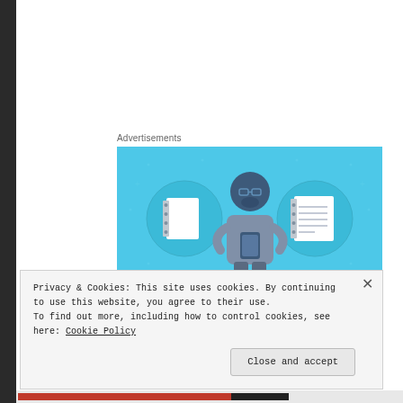Advertisements
[Figure (illustration): Day One app advertisement banner on light blue background featuring a cartoon person holding a phone, flanked by two circular icons showing notebooks/journals, with text 'DAY ONE' at the bottom.]
Summary of Volume 1 from Goodreads:
Privacy & Cookies: This site uses cookies. By continuing to use this website, you agree to their use. To find out more, including how to control cookies, see here: Cookie Policy
Close and accept